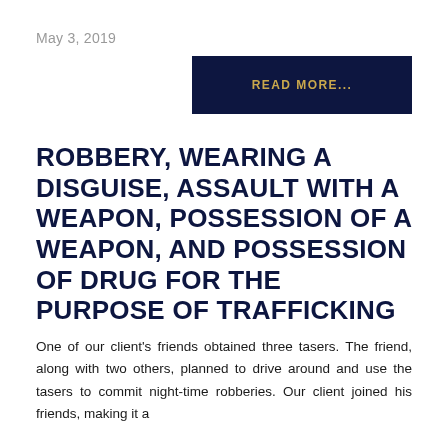May 3, 2019
[Figure (other): Dark navy blue button with gold text reading READ MORE...]
ROBBERY, WEARING A DISGUISE, ASSAULT WITH A WEAPON, POSSESSION OF A WEAPON, AND POSSESSION OF DRUG FOR THE PURPOSE OF TRAFFICKING
One of our client's friends obtained three tasers. The friend, along with two others, planned to drive around and use the tasers to commit night-time robberies. Our client joined his friends, making it a